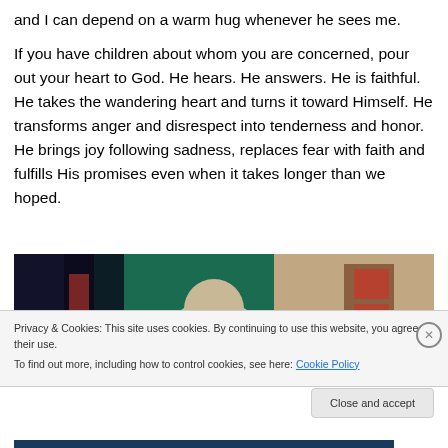and I can depend on a warm hug whenever he sees me.
If you have children about whom you are concerned, pour out your heart to God. He hears. He answers. He is faithful. He takes the wandering heart and turns it toward Himself. He transforms anger and disrespect into tenderness and honor. He brings joy following sadness, replaces fear with faith and fulfills His promises even when it takes longer than we hoped.
[Figure (photo): Photo of people, partially visible, with a green background and wooden furniture, partially obscured by a cookie consent banner.]
Privacy & Cookies: This site uses cookies. By continuing to use this website, you agree to their use.
To find out more, including how to control cookies, see here: Cookie Policy
Close and accept